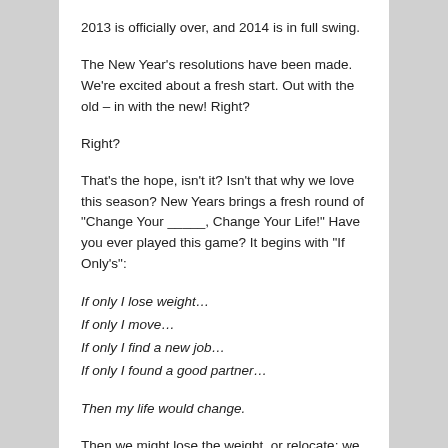2013 is officially over, and 2014 is in full swing.
The New Year's resolutions have been made. We're excited about a fresh start. Out with the old – in with the new! Right?
Right?
That's the hope, isn't it? Isn't that why we love this season? New Years brings a fresh round of "Change Your _____, Change Your Life!" Have you ever played this game? It begins with "If Only's":
If only I lose weight…
If only I move…
If only I find a new job…
If only I found a good partner…
Then my life would change.
Then we might lose the weight, or relocate; we find the job